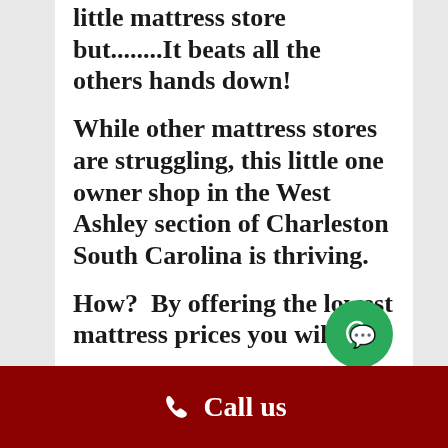little mattress store but........It beats all the others hands down!
While other mattress stores are struggling, this little one owner shop in the West Ashley section of Charleston South Carolina is thriving.
How?  By offering the lowest mattress prices you will find
Call us